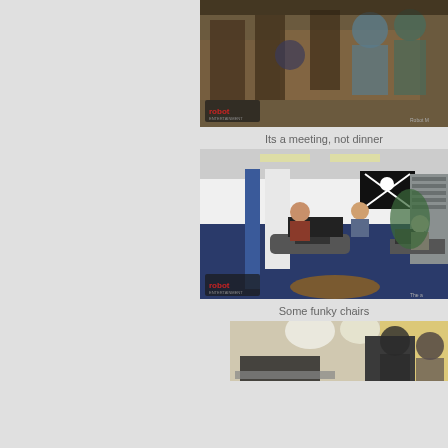[Figure (photo): People sitting around wooden tables in what appears to be a restaurant-style meeting room, with a Robot Entertainment logo overlay in the bottom left corner.]
Its a meeting, not dinner
[Figure (photo): Open office space with blue carpet, workstations, blue pillars, a pirate flag banner on the wall, bookshelves, and several employees working at computers. Robot Entertainment logo overlay visible in the bottom left corner.]
Some funky chairs
[Figure (photo): Partial view of an office room with people sitting, yellow wall visible in background.]